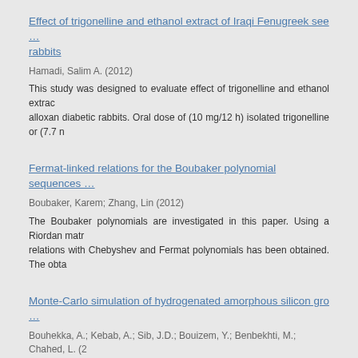Effect of trigonelline and ethanol extract of Iraqi Fenugreek see... rabbits
Hamadi, Salim A. (2012)
This study was designed to evaluate effect of trigonelline and ethanol extrac... alloxan diabetic rabbits. Oral dose of (10 mg/12 h) isolated trigonelline or (7.7 n...
Fermat-linked relations for the Boubaker polynomial sequences ...
Boubaker, Karem; Zhang, Lin (2012)
The Boubaker polynomials are investigated in this paper. Using a Riordan matr... relations with Chebyshev and Fermat polynomials has been obtained. The obta...
Monte-Carlo simulation of hydrogenated amorphous silicon gro...
Bouhekka, A.; Kebab, A.; Sib, J.D.; Bouizem, Y.; Benbekhti, M.; Chahed, L. (2...
A Monte-Carlo simulation of the growth of hydrogenated amorphous silicon c... chemical vapour deposition technique is presented in this work which is based o...
New exact solutions for Davey–Stewartson system
Taghizadeh, N.; Neirameh, A.; Shokooh, S. (2012)